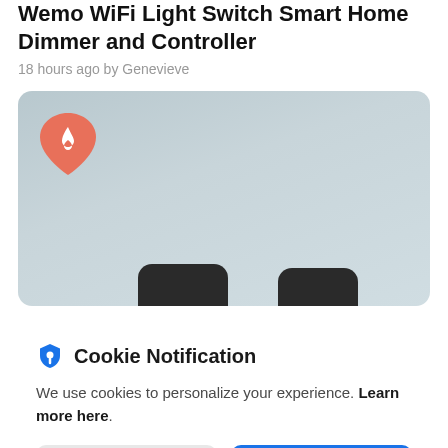Wemo WiFi Light Switch Smart Home Dimmer and Controller
18 hours ago by Genevieve
[Figure (photo): Product image showing Wemo smart home devices on a steel-blue background, with a Tinder-style app icon overlay in the top left corner and dark circular device shapes visible at the bottom.]
Cookie Notification
We use cookies to personalize your experience. Learn more here.
I Don't Accept
I Accept